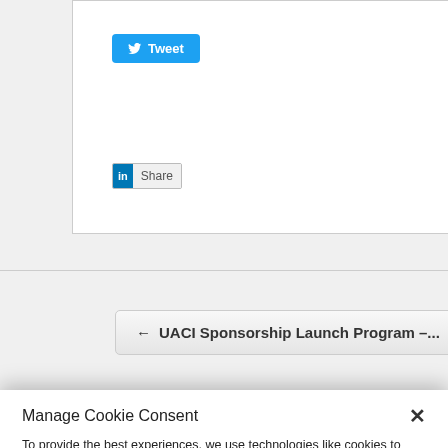[Figure (screenshot): Twitter Tweet button (blue rounded button with bird icon)]
[Figure (screenshot): LinkedIn Share button (grey button with blue 'in' logo)]
[Figure (screenshot): Navigation link: ← UACI Sponsorship Launch Program –...]
Manage Cookie Consent
To provide the best experiences, we use technologies like cookies to store and/or access device information. Consenting to these technologies will allow us to process data such as browsing behavior or unique IDs on this site. Not consenting or withdrawing consent, may adversely affect certain features and functions.
[Figure (screenshot): Accept button (light grey rounded rectangle)]
Do Not Sell My Personal Information    Privacy statement